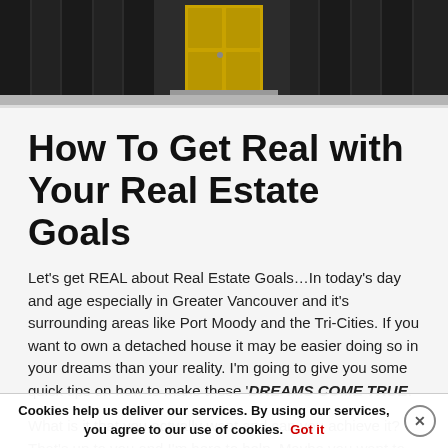[Figure (photo): A building facade with a yellow/gold door and dark walls, viewed from outside at street level with a sidewalk visible.]
How To Get Real with Your Real Estate Goals
Let’s get REAL about Real Estate Goals…In today’s day and age especially in Greater Vancouver and it’s surrounding areas like Port Moody and the Tri-Cities. If you want to own a detached house it may be easier doing so in your dreams than your reality. I’m going to give you some quick tips on how to make these ‘DREAMS COME TRUE.
What is it that you actually want and can you achieve it? That’s up to you and I’m here to help. Maybe you want to own a condo or a house, but you want to see if that will make you a possibility...
Cookies help us deliver our services. By using our services, you agree to our use of cookies. Got it